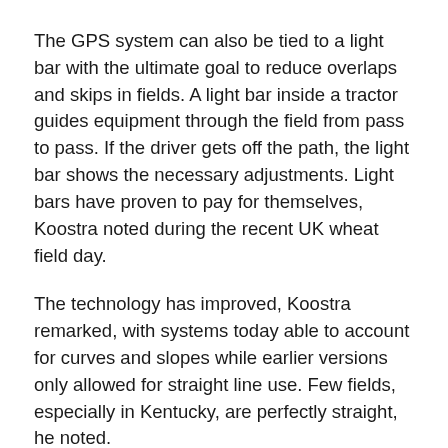The GPS system can also be tied to a light bar with the ultimate goal to reduce overlaps and skips in fields. A light bar inside a tractor guides equipment through the field from pass to pass. If the driver gets off the path, the light bar shows the necessary adjustments. Light bars have proven to pay for themselves, Koostra noted during the recent UK wheat field day.
The technology has improved, Koostra remarked, with systems today able to account for curves and slopes while earlier versions only allowed for straight line use. Few fields, especially in Kentucky, are perfectly straight, he noted.
Auto steering is something that is also gaining popularity with farmers as the technology and quality of the equipment has improved, he said. Auto steering basically takes the task of steering the tractor away from the farmer. Instead, GPS technology guides the tractor